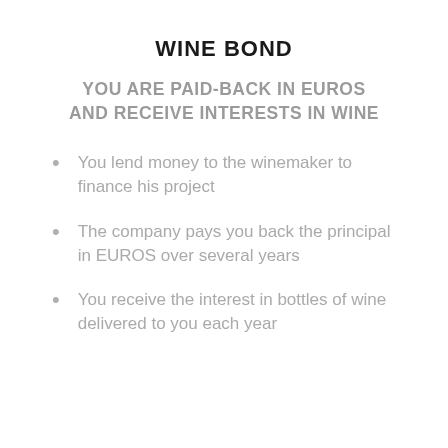WINE BOND
YOU ARE PAID-BACK IN EUROS AND RECEIVE INTERESTS IN WINE
You lend money to the winemaker to finance his project
The company pays you back the principal in EUROS over several years
You receive the interest in bottles of wine delivered to you each year